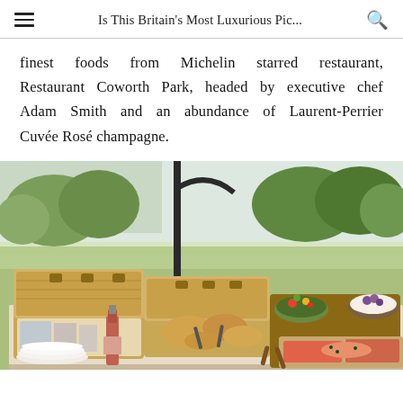Is This Britain's Most Luxurious Pic...
finest foods from Michelin starred restaurant, Restaurant Coworth Park, headed by executive chef Adam Smith and an abundance of Laurent-Perrier Cuvée Rosé champagne.
[Figure (photo): Outdoor luxury picnic spread on green lawn with two open wicker hamper baskets filled with breads and cutlery, a rosé champagne bottle, white plates, and multiple wooden serving boards and bowls with food items including salads and charcuterie, with trees in the background.]